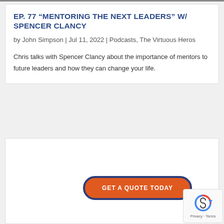EP. 77 “MENTORING THE NEXT LEADERS” W/ SPENCER CLANCY
by John Simpson | Jul 11, 2022 | Podcasts, The Virtuous Heros
Chris talks with Spencer Clancy about the importance of mentors to future leaders and how they can change your life.
[Figure (other): GET A QUOTE TODAY call-to-action button with orange background and dark blue border]
[Figure (logo): reCAPTCHA badge with recycling arrow icon and Privacy - Terms text]